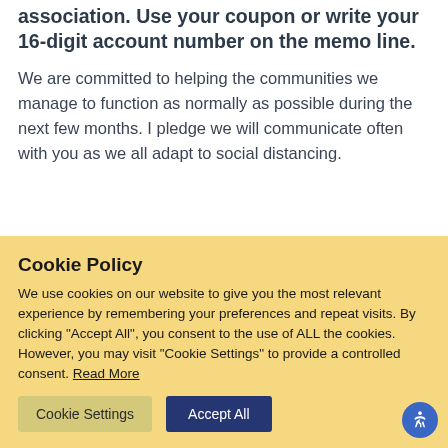association. Use your coupon or write your 16-digit account number on the memo line.
We are committed to helping the communities we manage to function as normally as possible during the next few months. I pledge we will communicate often with you as we all adapt to social distancing.
Cookie Policy
We use cookies on our website to give you the most relevant experience by remembering your preferences and repeat visits. By clicking "Accept All", you consent to the use of ALL the cookies. However, you may visit "Cookie Settings" to provide a controlled consent. Read More